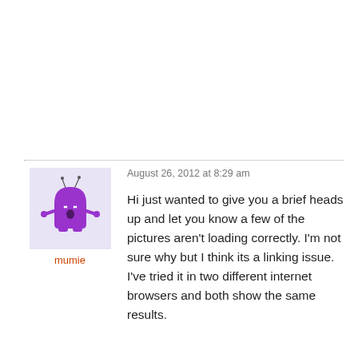[Figure (illustration): Purple cartoon ghost/alien character with antennae, small arms, and feet on a light purple background square]
mumie
August 26, 2012 at 8:29 am
Hi just wanted to give you a brief heads up and let you know a few of the pictures aren't loading correctly. I'm not sure why but I think its a linking issue. I've tried it in two different internet browsers and both show the same results.